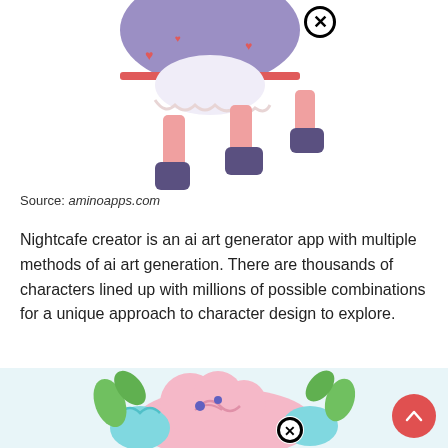[Figure (illustration): Anime/cartoon character illustration showing the lower body of a character with purple jacket with red trim and hearts, white dress, pink legs, and dark boots, with a circular X close button overlay.]
Source: aminoapps.com
Nightcafe creator is an ai art generator app with multiple methods of ai art generation. There are thousands of characters lined up with millions of possible combinations for a unique approach to character design to explore.
[Figure (illustration): Cartoon pony/creature illustration with pastel pink and blue colors, green leaf accents, on a light blue background, with a circular X close button overlay.]